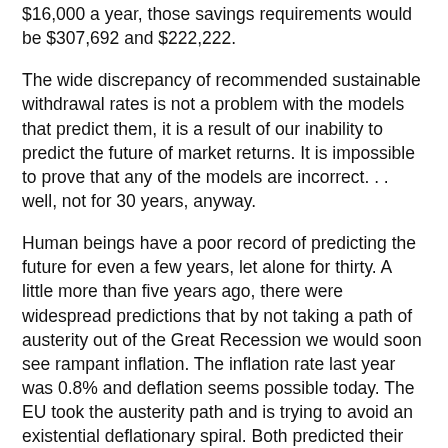$16,000 a year, those savings requirements would be $307,692 and $222,222.
The wide discrepancy of recommended sustainable withdrawal rates is not a problem with the models that predict them, it is a result of our inability to predict the future of market returns. It is impossible to prove that any of the models are incorrect. . . well, not for 30 years, anyway.
Human beings have a poor record of predicting the future for even a few years, let alone for thirty. A little more than five years ago, there were widespread predictions that by not taking a path of austerity out of the Great Recession we would soon see rampant inflation. The inflation rate last year was 0.8% and deflation seems possible today. The EU took the austerity path and is trying to avoid an existential deflationary spiral. Both predicted their way would be best.
Studies show that “experts” are no better at predicting the future than us non-experts. Investment manager, Ken Fisher, used to project the coming year’s market return by looking at the projections of the same handful of “market experts” every year. He noticed that the projections were all falling in the